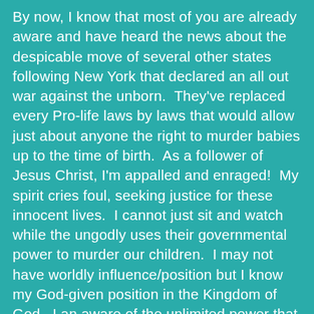By now, I know that most of you are already aware and have heard the news about the despicable move of several other states following New York that declared an all out war against the unborn.  They've replaced every Pro-life laws by laws that would allow just about anyone the right to murder babies up to the time of birth.  As a follower of Jesus Christ, I'm appalled and enraged!  My spirit cries foul, seeking justice for these innocent lives.  I cannot just sit and watch while the ungodly uses their governmental power to murder our children.  I may not have worldly influence/position but I know my God-given position in the Kingdom of God.  I an aware of the unlimited power that Christ entrusted me.  I can engage in this spiritual warfare against abortion through faith, prayer and declaration while taking the necessary action as a citizen to destroy this abomination of Abortion in this country.  I may be one person but with God's power working in me, I can certainly make a difference.  If you feel the same way,  let us use every window of opportunity to unite and use anything at our disposal to make a noise---a very LOUD and POWERFUL NOISE to condemn this barbaric and horrendous act of murder in our time.  If